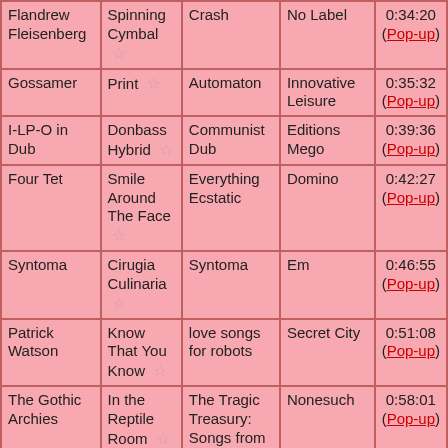| Artist | Song | Album | Label | Time |
| --- | --- | --- | --- | --- |
| Flandrew Fleisenberg | Spinning Cymbal ☆ | Crash | No Label | 0:34:20 (Pop-up) |
| Gossamer | Print ☆ | Automaton | Innovative Leisure | 0:35:32 (Pop-up) |
| I-LP-O in Dub | Donbass Hybrid ☆ | Communist Dub | Editions Mego | 0:39:36 (Pop-up) |
| Four Tet | Smile Around The Face ☆ | Everything Ecstatic | Domino | 0:42:27 (Pop-up) |
| Syntoma | Cirugia Culinaria ☆ | Syntoma | Em | 0:46:55 (Pop-up) |
| Patrick Watson | Know That You Know ☆ | love songs for robots | Secret City | 0:51:08 (Pop-up) |
| The Gothic Archies | In the Reptile Room ☆ | The Tragic Treasury: Songs from A Series of Unfortunate Events | Nonesuch | 0:58:01 (Pop-up) |
|  |  |  |  |  |
| The Flag | BANG ☆ | Heat Waves | Geographic North | 1:04:12 (Pop-up) |